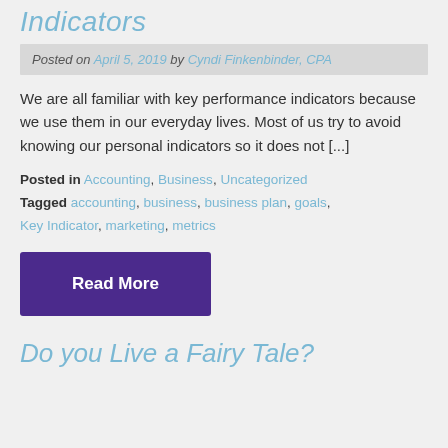Indicators
Posted on April 5, 2019 by Cyndi Finkenbinder, CPA
We are all familiar with key performance indicators because we use them in our everyday lives. Most of us try to avoid knowing our personal indicators so it does not [...]
Posted in Accounting, Business, Uncategorized Tagged accounting, business, business plan, goals, Key Indicator, marketing, metrics
Read More
Do you Live a Fairy Tale?